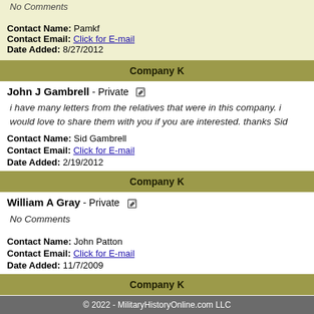No Comments
Contact Name: Pamkf
Contact Email: Click for E-mail
Date Added: 8/27/2012
Company K
John J Gambrell - Private
i have many letters from the relatives that were in this company. i would love to share them with you if you are interested. thanks Sid
Contact Name: Sid Gambrell
Contact Email: Click for E-mail
Date Added: 2/19/2012
Company K
William A Gray - Private
No Comments
Contact Name: John Patton
Contact Email: Click for E-mail
Date Added: 11/7/2009
Company K
© 2022 - MilitaryHistoryOnline.com LLC